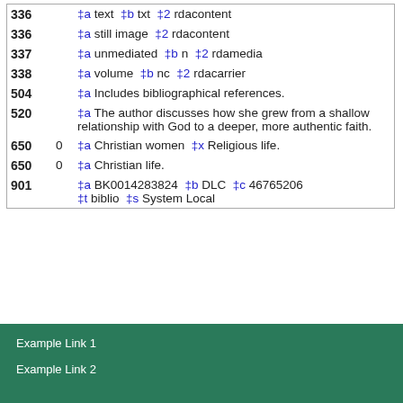| Field | Ind | Data |
| --- | --- | --- |
| 336 |  | ‡a text ‡b txt ‡2 rdacontent |
| 336 |  | ‡a still image ‡2 rdacontent |
| 337 |  | ‡a unmediated ‡b n ‡2 rdamedia |
| 338 |  | ‡a volume ‡b nc ‡2 rdacarrier |
| 504 |  | ‡a Includes bibliographical references. |
| 520 |  | ‡a The author discusses how she grew from a shallow relationship with God to a deeper, more authentic faith. |
| 650 | 0 | ‡a Christian women ‡x Religious life. |
| 650 | 0 | ‡a Christian life. |
| 901 |  | ‡a BK0014283824 ‡b DLC ‡c 46765206 ‡t biblio ‡s System Local |
Example Link 1
Example Link 2